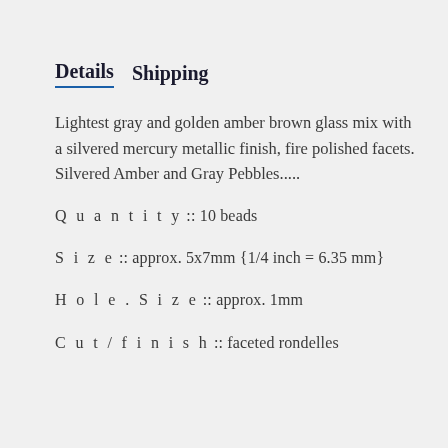Details   Shipping
Lightest gray and golden amber brown glass mix with a silvered mercury metallic finish, fire polished facets.
Silvered Amber and Gray Pebbles.....
Q u a n t i t y :: 10 beads
S i z e :: approx. 5x7mm {1/4 inch = 6.35 mm}
H o l e . S i z e :: approx. 1mm
C u t / f i n i s h :: faceted rondelles